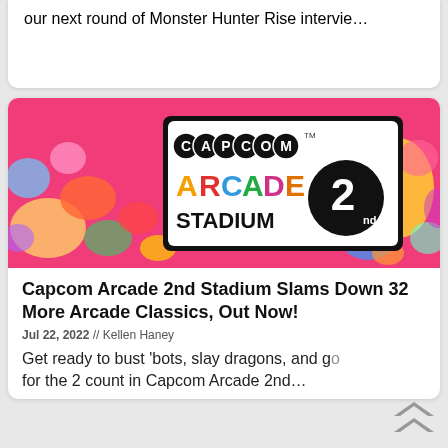our next round of Monster Hunter Rise intervie…
[Figure (photo): Capcom Arcade 2nd Stadium promotional banner image with colorful cartoon characters on a pink background and the Capcom Arcade Stadium 2nd logo in the center]
Capcom Arcade 2nd Stadium Slams Down 32 More Arcade Classics, Out Now!
Jul 22, 2022 // Kellen Haney
Get ready to bust 'bots, slay dragons, and go for the 2 count in Capcom Arcade 2nd…